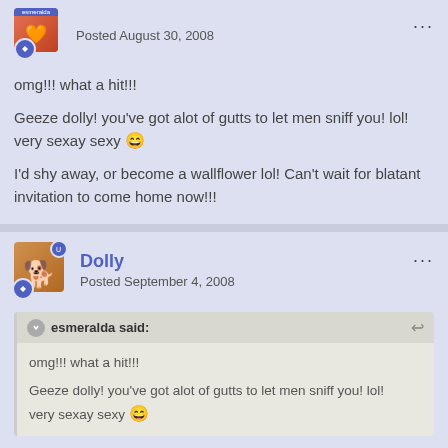Posted August 30, 2008
omg!!! what a hit!!!
Geeze dolly! you've got alot of gutts to let men sniff you! lol! very sexay sexy 😄
I'd shy away, or become a wallflower lol! Can't wait for blatant invitation to come home now!!!
Dolly
Posted September 4, 2008
esmeralda said:
omg!!! what a hit!!!
Geeze dolly! you've got alot of gutts to let men sniff you! lol! very sexay sexy 😄